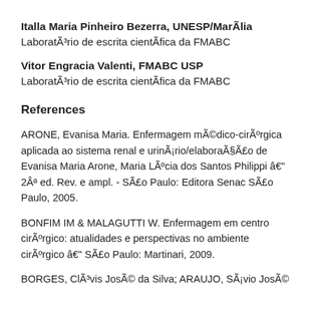Italla Maria Pinheiro Bezerra, UNESP/Marília
Laboratório de escrita científica da FMABC
Vitor Engracia Valenti, FMABC USP
Laboratório de escrita científica da FMABC
References
ARONE, Evanisa Maria. Enfermagem médico-cirúrgica aplicada ao sistema renal e urinário/elaboração de Evanisa Maria Arone, Maria Lúcia dos Santos Philippi – 2ª ed. Rev. e ampl. - São Paulo: Editora Senac São Paulo, 2005.
BONFIM IM & MALAGUTTI W. Enfermagem em centro cirúrgico: atualidades e perspectivas no ambiente cirúrgico – São Paulo: Martinari, 2009.
BORGES, Clávis José da Silva; ARAUJO, Sávio José